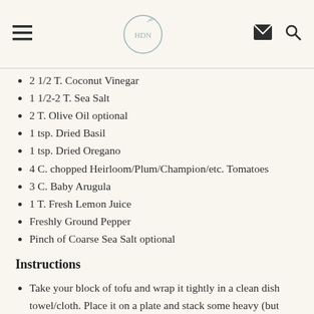Header with hamburger menu, logo, email and search icons
2 1/2 T. Coconut Vinegar
1 1/2-2 T. Sea Salt
2 T. Olive Oil optional
1 tsp. Dried Basil
1 tsp. Dried Oregano
4 C. chopped Heirloom/Plum/Champion/etc. Tomatoes
3 C. Baby Arugula
1 T. Fresh Lemon Juice
Freshly Ground Pepper
Pinch of Coarse Sea Salt optional
Instructions
Take your block of tofu and wrap it tightly in a clean dish towel/cloth. Place it on a plate and stack some heavy (but stable) objects on it to press the moisture out. Leave it pressed for 20-30 minutes.
In resealable container or bag whisk together the water,